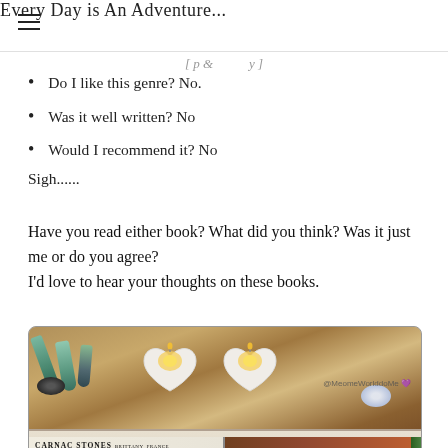Every Day is An Adventure...
[ partial text cut off ]
Do I like this genre? No.
Was it well written? No
Would I recommend it? No
Sigh......
Have you read either book? What did you think? Was it just me or do you agree?
I'd love to hear your thoughts on these books.
[Figure (photo): Flatlay photo of crystals, heart-shaped candles, and an open book about Carnac Stones on a wooden surface. Watermark reads @MeomeWorlddoMe with a purple emoji.]